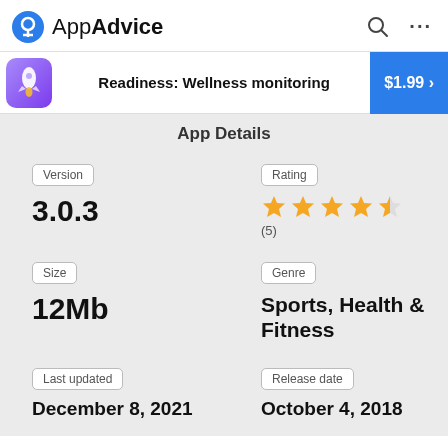AppAdvice
Readiness: Wellness monitoring  $1.99 >
App Details
| Version | Rating |
| --- | --- |
| 3.0.3 | ★★★★½ (5) |
| Size | Genre |
| --- | --- |
| 12Mb | Sports, Health & Fitness |
| Last updated | Release date |
| --- | --- |
| December 8, 2021 | October 4, 2018 |